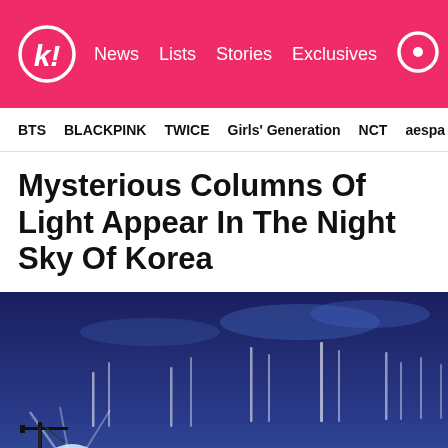Koreaboo — News | Lists | Stories | Exclusives
BTS  BLACKPINK  TWICE  Girls' Generation  NCT  aespa
Mysterious Columns Of Light Appear In The Night Sky Of Korea
[Figure (photo): Night sky photograph showing mysterious vertical columns of light appearing above a treeline and construction crane silhouette, with a bright light source on the left illuminating the scene]